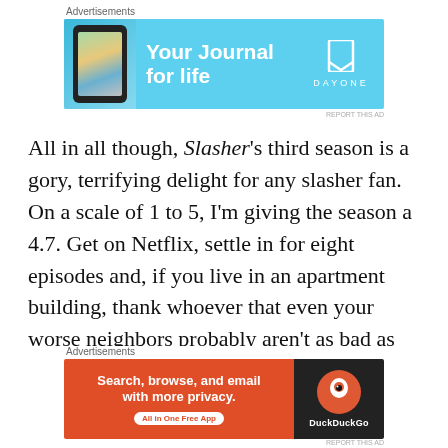[Figure (other): DayOne journal app advertisement banner with phone image, 'Your Journal for life' text on cyan background]
All in all though, Slasher's third season is a gory, terrifying delight for any slasher fan. On a scale of 1 to 5, I'm giving the season a 4.7. Get on Netflix, settle in for eight episodes and, if you live in an apartment building, thank whoever that even your worse neighbors probably aren't as bad as the ones in this show.
That's all for now, my Followers of Fear. I wanted to get one more blog post out before I left on my trip tomorrow, and I'm glad it was this one. Don't know when my next on
[Figure (other): DuckDuckGo advertisement banner with 'Search, browse, and email with more privacy. All in One Free App' on orange background]